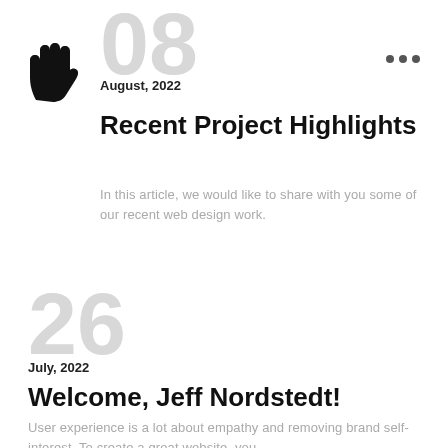[Figure (illustration): Black hand/wave icon pointing right]
08
August, 2022
Recent Project Highlights
In this article, we would like to share with you some of our recent web design work.
26
July, 2022
Welcome, Jeff Nordstedt!
User experience is a lot about empathy and removing brand self-interest. To create a great website, you